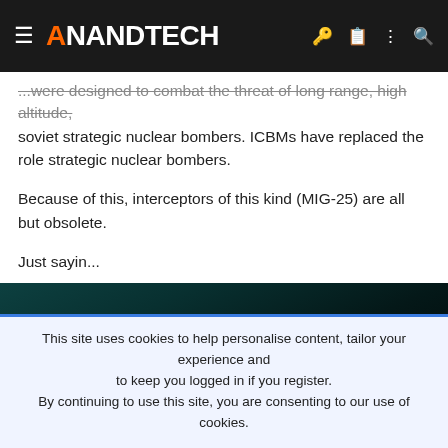AnandTech
...were designed to combat the threat of long range, high altitude, soviet strategic nuclear bombers. ICBMs have replaced the role strategic nuclear bombers.
Because of this, interceptors of this kind (MIG-25) are all but obsolete.
Just sayin...
[Figure (photo): Dark teal/black gradient background banner image]
This site uses cookies to help personalise content, tailor your experience and to keep you logged in if you register. By continuing to use this site, you are consenting to our use of cookies.